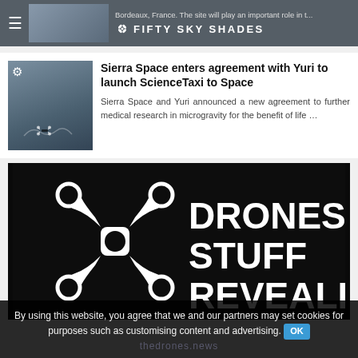≡ ✈ FIFTY SKY SHADES | Bordeaux, France. The site will play an important role in t...
Sierra Space enters agreement with Yuri to launch ScienceTaxi to Space
Sierra Space and Yuri announced a new agreement to further medical research in microgravity for the benefit of life ...
[Figure (logo): DRONES STUFF REVEALED logo — white drone quadcopter icon on black background with bold white text reading DRONES STUFF REVEALED]
By using this website, you agree that we and our partners may set cookies for purposes such as customising content and advertising. OK
thedrones.news